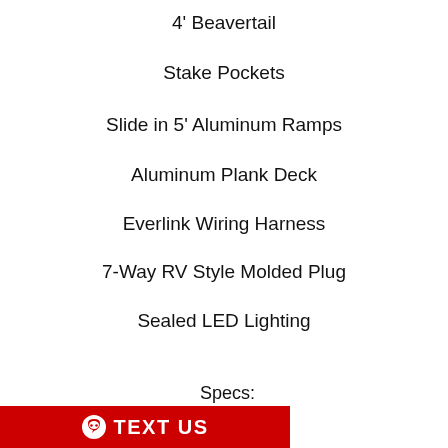4' Beavertail
Stake Pockets
Slide in 5' Aluminum Ramps
Aluminum Plank Deck
Everlink Wiring Harness
7-Way RV Style Molded Plug
Sealed LED Lighting
Specs:
TEXT US